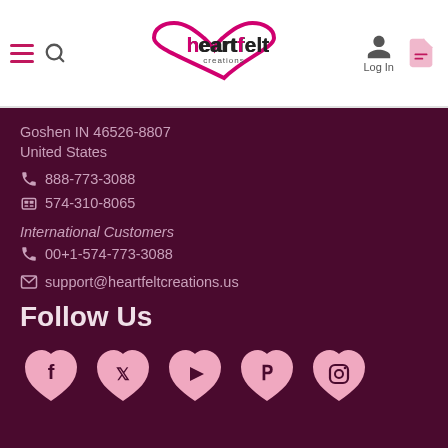[Figure (logo): Heartfelt Creations logo with heart shape and brand name]
Goshen IN 46526-8807
United States
📞 888-773-3088
📠 574-310-8065
International Customers
📞 00+1-574-773-3088
✉ support@heartfeltcreations.us
Follow Us
[Figure (illustration): Social media icons (Facebook, Twitter, YouTube, Pinterest, Instagram) in pink heart shapes]